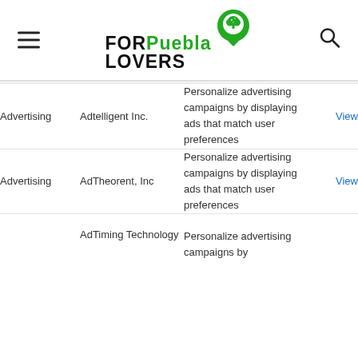[Figure (logo): FORPuebla LOVERS logo with green map pin icon]
| Category | Name | Description |  |
| --- | --- | --- | --- |
| Advertising | Adtelligent Inc. | Personalize advertising campaigns by displaying ads that match user preferences | View |
| Advertising | AdTheorent, Inc | Personalize advertising campaigns by displaying ads that match user preferences | View |
| Advertising | AdTiming Technology | Personalize advertising campaigns by |  |